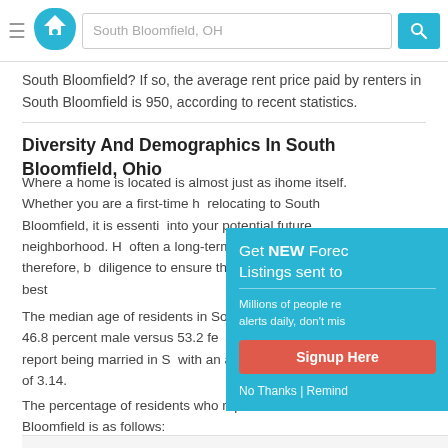South Bloomfield, OH
South Bloomfield? If so, the average rent price paid by renters in South Bloomfield is 950, according to recent statistics.
Diversity And Demographics In South Bloomfield, Ohio
Where a home is located is almost just as important as the home itself. Whether you are a first-time homebuyer or relocating to South Bloomfield, it is essential to research into your potential future neighborhood. Homeownership is often a long-term relationship; therefore, buyers should do diligence to ensure that you make the best decision.
The median age of residents in South Bloomfield is split between 46.8 percent male versus 53.2 female. The percent of residents who report being married in South Bloomfield with an average family size of 3.14.
The percentage of residents who report their race in South Bloomfield is as follows:
[Figure (screenshot): Popup overlay advertising 'Get NEW Foreclosure Listings sent to you' with a red Signup Here button and No Thanks | Remind Me Later links]